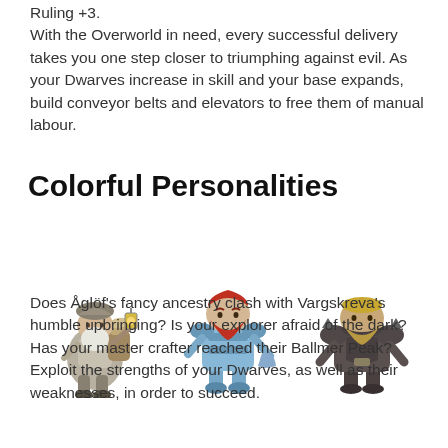Ruling +3.
With the Overworld in need, every successful delivery takes you one step closer to triumphing against evil. As your Dwarves increase in skill and your base expands, build conveyor belts and elevators to free them of manual labour.
Colorful Personalities
[Figure (illustration): Three fantasy dwarf characters standing side by side: a traveler dwarf with a pack and lantern, an armored blue dwarf warrior with red hair, and a dark-armored stocky dwarf.]
Does Åglöf's fancy ancestry clash with Vargskreva's humble upbringing? Is your explorer afraid of the dark? Has your master crafter reached their Ballmer Peak? Exploit the strengths of your Dwarves, as well as their weaknesses, in order to succeed.